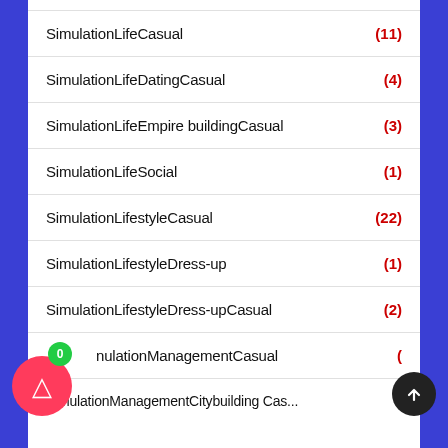SimulationLifeCasual (11)
SimulationLifeDatingCasual (4)
SimulationLifeEmpire buildingCasual (3)
SimulationLifeSocial (1)
SimulationLifestyleCasual (22)
SimulationLifestyleDress-up (1)
SimulationLifestyleDress-upCasual (2)
SimulationManagementCasual (...)
SimulationManagementCitybuilding Casual ...